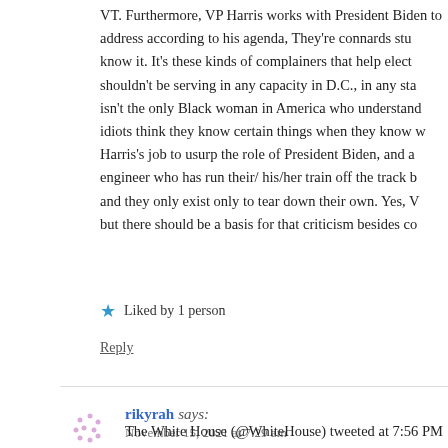VT. Furthermore, VP Harris works with President Biden to address according to his agenda, They're connards stu know it. It's these kinds of complainers that help elect shouldn't be serving in any capacity in D.C., in any sta isn't the only Black woman in America who understands idiots think they know certain things when they know w Harris's job to usurp the role of President Biden, and a engineer who has run their/ his/her train off the track b and they only exist only to tear down their own. Yes, V but there should be a basis for that criticism besides co
★ Liked by 1 person
Reply
rikyrah says: November 15, 2021 at 7:29 am
The White House (@WhiteHouse) tweeted at 7:56 PM